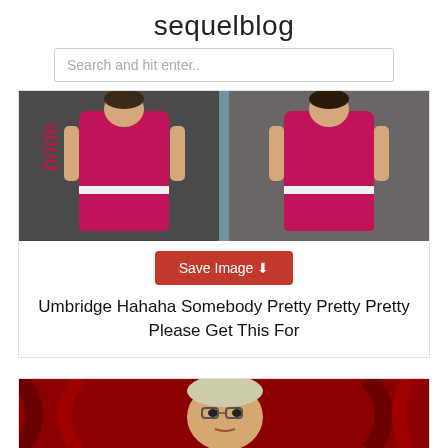sequelblog
Search and hit enter..
[Figure (photo): Two dolls wearing pink outfits with white belts in packaging labeled 'bride']
Save Image
Umbridge Hahaha Somebody Pretty Pretty Pretty Please Get This For
[Figure (photo): Person with blonde hair and glasses against red curtain background]